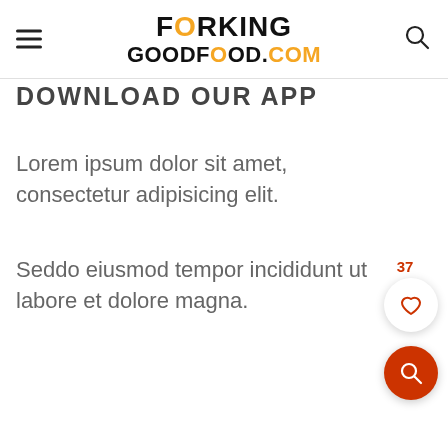FORKING GOODFOOD.COM
DOWNLOAD OUR APP
Lorem ipsum dolor sit amet, consectetur adipisicing elit.
Seddo eiusmod tempor incididunt ut labore et dolore magna.